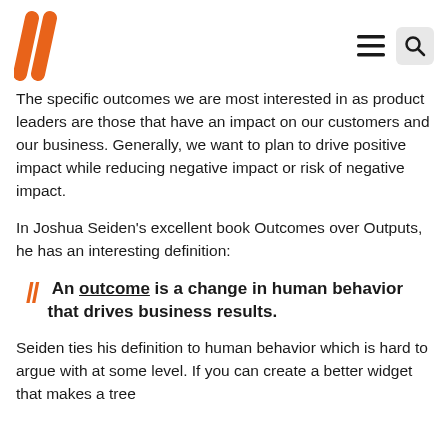// [logo] [menu icon] [search icon]
The specific outcomes we are most interested in as product leaders are those that have an impact on our customers and our business. Generally, we want to plan to drive positive impact while reducing negative impact or risk of negative impact.
In Joshua Seiden’s excellent book Outcomes over Outputs, he has an interesting definition:
// An outcome is a change in human behavior that drives business results.
Seiden ties his definition to human behavior which is hard to argue with at some level. If you can create a better widget that makes a tree